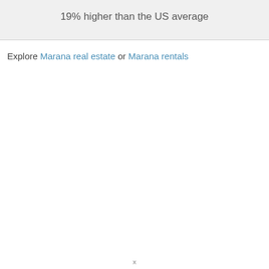19% higher than the US average
Explore Marana real estate or Marana rentals